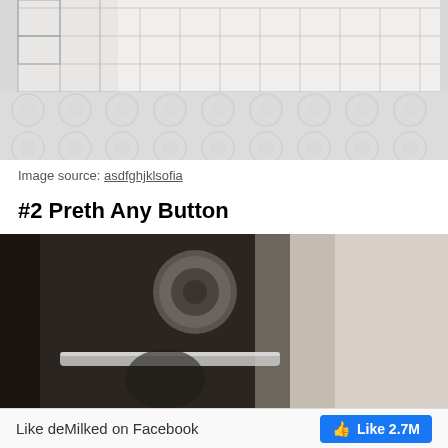[Figure (photo): Close-up photo of graph/grid paper on top and bubble wrap below, on a light background]
Image source: asdfghjklsofia
#2 Preth Any Button
[Figure (photo): Dark close-up photo of a round door handle or knob against a light background]
Like deMilked on Facebook  👍 Like 2.7M